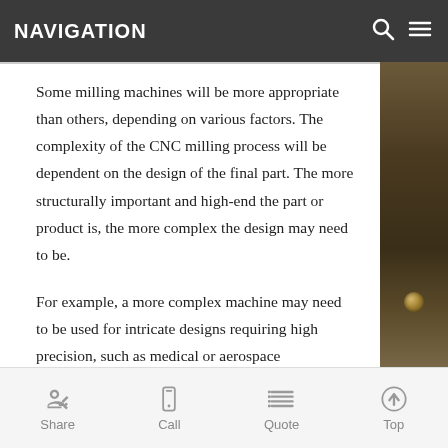NAVIGATION
Some milling machines will be more appropriate than others, depending on various factors. The complexity of the CNC milling process will be dependent on the design of the final part. The more structurally important and high-end the part or product is, the more complex the design may need to be.
For example, a more complex machine may need to be used for intricate designs requiring high precision, such as medical or aerospace components. This is to achieve the final design, finish, and aesthetic.
Share | Call | Quote | Top